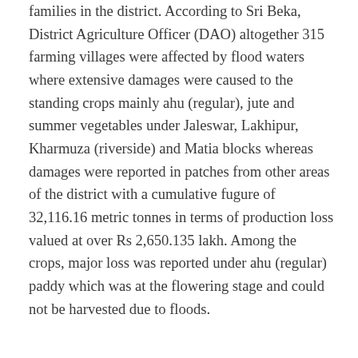families in the district. According to Sri Beka, District Agriculture Officer (DAO) altogether 315 farming villages were affected by flood waters where extensive damages were caused to the standing crops mainly ahu (regular), jute and summer vegetables under Jaleswar, Lakhipur, Kharmuza (riverside) and Matia blocks whereas damages were reported in patches from other areas of the district with a cumulative fugure of 32,116.16 metric tonnes in terms of production loss valued at over Rs 2,650.135 lakh. Among the crops, major loss was reported under ahu (regular) paddy which was at the flowering stage and could not be harvested due to floods.